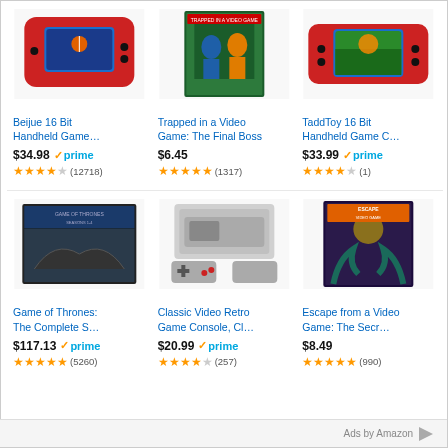[Figure (screenshot): Amazon product grid showing 6 items: handheld games, books, retro console, Game of Thrones DVD]
Beijue 16 Bit Handheld Game…
$34.98 ✓prime ★★★★☆ (12718)
Trapped in a Video Game: The Final Boss
$6.45 ★★★★★ (1317)
TaddToy 16 Bit Handheld Game C…
$33.99 ✓prime ★★★★☆ (1)
Game of Thrones: The Complete S…
$117.13 ✓prime ★★★★★ (5260)
Classic Video Retro Game Console, Cl…
$20.99 ✓prime ★★★★☆ (257)
Escape from a Video Game: The Secr…
$8.49 ★★★★★ (990)
Ads by Amazon